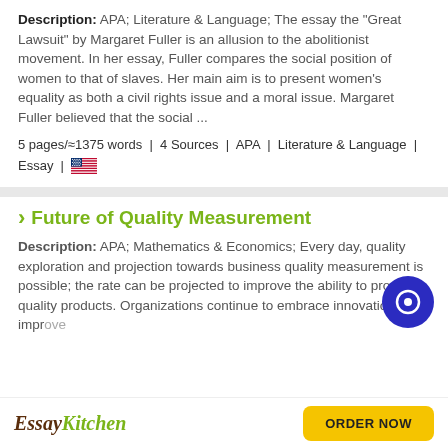Description: APA; Literature & Language; The essay the "Great Lawsuit" by Margaret Fuller is an allusion to the abolitionist movement. In her essay, Fuller compares the social position of women to that of slaves. Her main aim is to present women's equality as both a civil rights issue and a moral issue. Margaret Fuller believed that the social ...
5 pages/≈1375 words | 4 Sources | APA | Literature & Language | Essay | [US flag]
Future of Quality Measurement
Description: APA; Mathematics & Economics; Every day, quality exploration and projection towards business quality measurement is possible; the rate can be projected to improve the ability to provide quality products. Organizations continue to embrace innovation to improve...
EssayKitchen   ORDER NOW